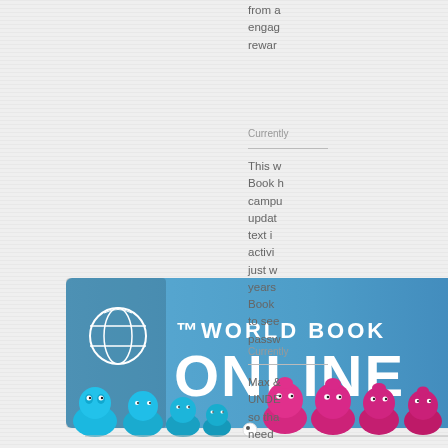from a engage rewar
Currently
This w Book h campu updat text i activi just w years Book to see passw
[Figure (logo): World Book Online logo — blue gradient rectangle with white globe icon and text 'WORLD BOOK ONLINE']
Currently
Max & UNDE so tha need
[Figure (illustration): Cartoon characters — a row of colorful round figures, cyan/blue on left and magenta/pink on right, sitting together]